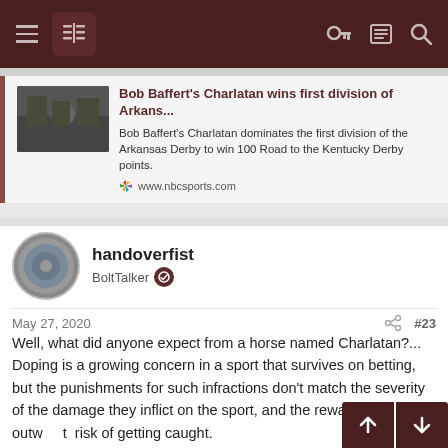Navigation bar with hamburger menu, logo, key icon, list icon, and search icon
[Figure (screenshot): Article card with thumbnail image, title 'Bob Baffert's Charlatan wins first division of Arkans...', description, and NBC Sports source link]
Bob Baffert's Charlatan wins first division of Arkans...
Bob Baffert's Charlatan dominates the first division of the Arkansas Derby to win 100 Road to the Kentucky Derby points.
www.nbcsports.com
handoverfist
BoltTalker
May 27, 2020
#23
Well, what did anyone expect from a horse named Charlatan?... Doping is a growing concern in a sport that survives on betting, but the punishments for such infractions don't match the severity of the damage they inflict on the sport, and the rewards far outw  t  risk of getting caught.